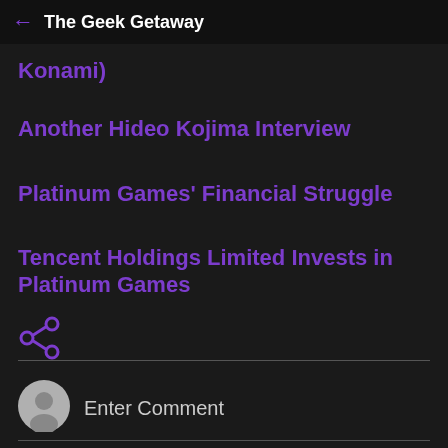← The Geek Getaway
Konami)
Another Hideo Kojima Interview
Platinum Games' Financial Struggle
Tencent Holdings Limited Invests in Platinum Games
[Figure (other): Share icon (less-than symbol style share button in purple)]
Enter Comment